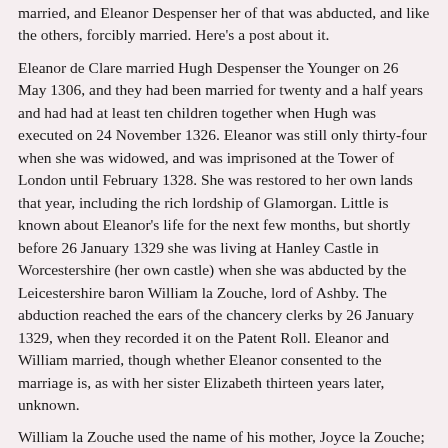married, and Eleanor Despenser her of that was abducted, and like the others, forcibly married. Here's a post about it.
Eleanor de Clare married Hugh Despenser the Younger on 26 May 1306, and they had been married for twenty and a half years and had had at least ten children together when Hugh was executed on 24 November 1326. Eleanor was still only thirty-four when she was widowed, and was imprisoned at the Tower of London until February 1328. She was restored to her own lands that year, including the rich lordship of Glamorgan. Little is known about Eleanor's life for the next few months, but shortly before 26 January 1329 she was living at Hanley Castle in Worcestershire (her own castle) when she was abducted by the Leicestershire baron William la Zouche, lord of Ashby. The abduction reached the ears of the chancery clerks by 26 January 1329, when they recorded it on the Patent Roll. Eleanor and William married, though whether Eleanor consented to the marriage is, as with her sister Elizabeth thirteen years later, unknown.
William la Zouche used the name of his mother, Joyce la Zouche; his father was called Robert Mortimer and his elder brother (d. 1304) was Hugh Mortimer of Richard's Castle, Herefordshire. William's date of birth is not known but was probably in the 1270s